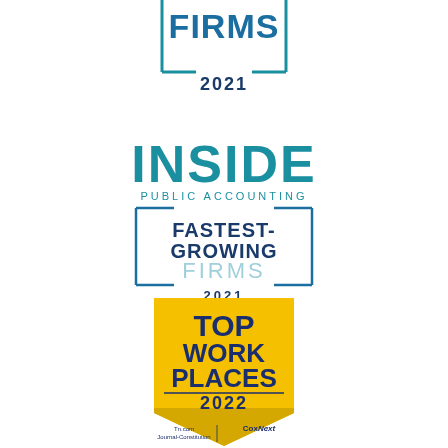[Figure (logo): Inside Public Accounting Fastest-Growing Firms 2021 logo (partial, top portion showing FIRMS 2021 with teal bracket border)]
[Figure (logo): Inside Public Accounting Fastest-Growing Firms 2021 full logo with INSIDE in large teal letters, PUBLIC ACCOUNTING text, bracket border containing FASTEST-GROWING in dark blue bold text and FIRMS in light blue, 2021 in dark blue]
[Figure (logo): Top Work Places 2022 badge/seal in gold/yellow pentagon shape with dark blue text reading TOP WORK PLACES 2022, with Tn.com Journal-Constitution and CoxNext logos at bottom]